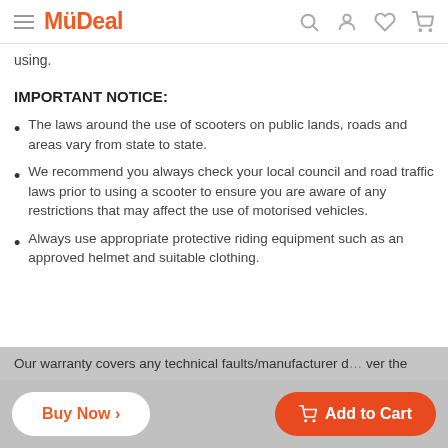MyDeal
using.
IMPORTANT NOTICE:
The laws around the use of scooters on public lands, roads and areas vary from state to state.
We recommend you always check your local council and road traffic laws prior to using a scooter to ensure you are aware of any restrictions that may affect the use of motorised vehicles.
Always use appropriate protective riding equipment such as an approved helmet and suitable clothing.
Our warranty covers any technical faults/manufacturer d… ver the
Buy Now >    Add to Cart